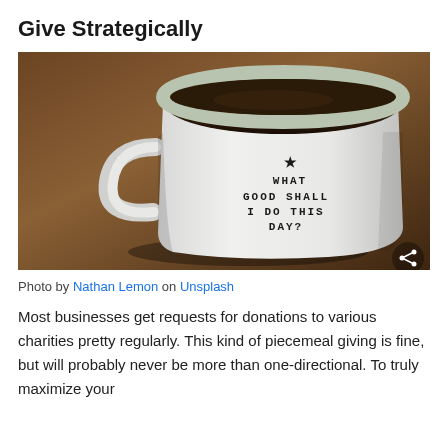Give Strategically
[Figure (photo): A white ceramic mug with text reading '★ WHAT GOOD SHALL I DO THIS DAY?' sitting on a wooden surface filled with dark coffee, with a share icon in the bottom right corner.]
Photo by Nathan Lemon on Unsplash
Most businesses get requests for donations to various charities pretty regularly. This kind of piecemeal giving is fine, but will probably never be more than one-directional. To truly maximize your